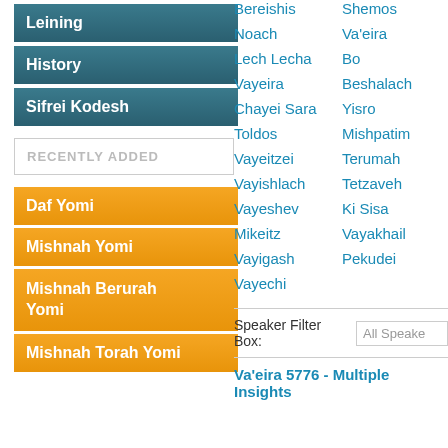Leining
History
Sifrei Kodesh
RECENTLY ADDED
Daf Yomi
Mishnah Yomi
Mishnah Berurah Yomi
Mishnah Torah Yomi
Bereishis
Shemos
Noach
Va'eira
Lech Lecha
Bo
Vayeira
Beshalach
Chayei Sara
Yisro
Toldos
Mishpatim
Vayeitzei
Terumah
Vayishlach
Tetzaveh
Vayeshev
Ki Sisa
Mikeitz
Vayakhail
Vayigash
Pekudei
Vayechi
Speaker Filter Box:  All Speakers
Va'eira 5776 - Multiple Insights